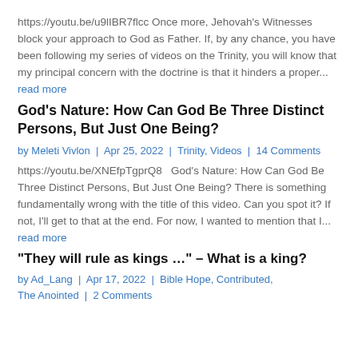https://youtu.be/u9lIBR7flcc Once more, Jehovah's Witnesses block your approach to God as Father. If, by any chance, you have been following my series of videos on the Trinity, you will know that my principal concern with the doctrine is that it hinders a proper...
read more
God’s Nature: How Can God Be Three Distinct Persons, But Just One Being?
by Meleti Vivlon | Apr 25, 2022 | Trinity, Videos | 14 Comments
https://youtu.be/XNEfpTgprQ8   God’s Nature: How Can God Be Three Distinct Persons, But Just One Being? There is something fundamentally wrong with the title of this video. Can you spot it? If not, I’ll get to that at the end. For now, I wanted to mention that I...
read more
“They will rule as kings …” – What is a king?
by Ad_Lang | Apr 17, 2022 | Bible Hope, Contributed, The Anointed | 2 Comments